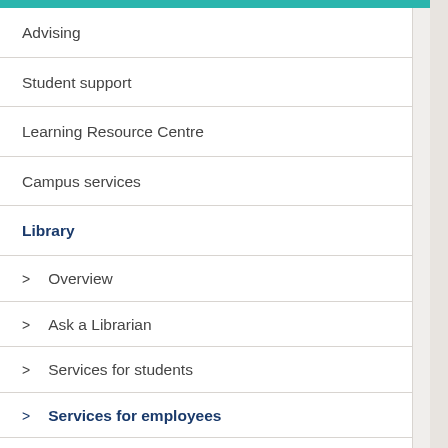Advising
Student support
Learning Resource Centre
Campus services
Library
> Overview
> Ask a Librarian
> Services for students
> Services for employees
> Renew loans online